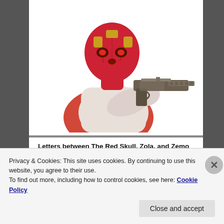[Figure (illustration): Comic book illustration of The Red Skull character — a villain with a red skull face, gold headpiece, wearing a white coat, pointing a large pistol/Mauser-style gun directly at the viewer. Shown from the torso up on a white background.]
Letters between The Red Skull, Zola, and Zemo
[Figure (other): Partially visible stylized bold italic text reading 'WORKS BEST' in dark navy and blue colors, partially obscured by a cookie consent overlay.]
Privacy & Cookies: This site uses cookies. By continuing to use this website, you agree to their use.
To find out more, including how to control cookies, see here: Cookie Policy
Close and accept